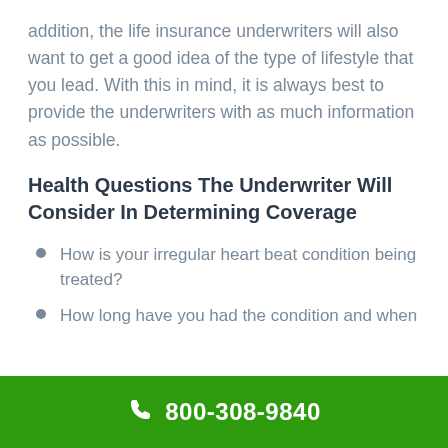addition, the life insurance underwriters will also want to get a good idea of the type of lifestyle that you lead. With this in mind, it is always best to provide the underwriters with as much information as possible.
Health Questions The Underwriter Will Consider In Determining Coverage
How is your irregular heart beat condition being treated?
How long have you had the condition and when
800-308-9840